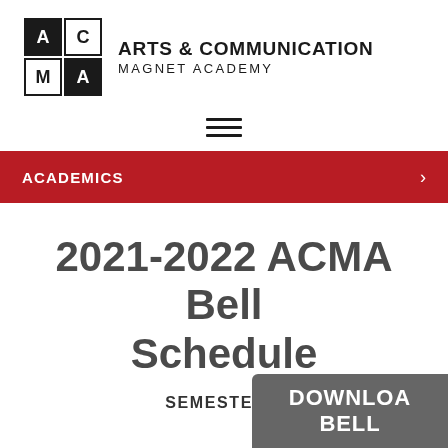[Figure (logo): ACMA logo grid with four cells: A (white on black), C (black text on white), M (black text on white), A (white on black), forming a 2x2 square grid]
ARTS & COMMUNICATION MAGNET ACADEMY
[Figure (other): Hamburger menu icon with three horizontal lines]
ACADEMICS
2021-2022 ACMA Bell Schedule
SEMESTER 2
DOWNLOAD BELL